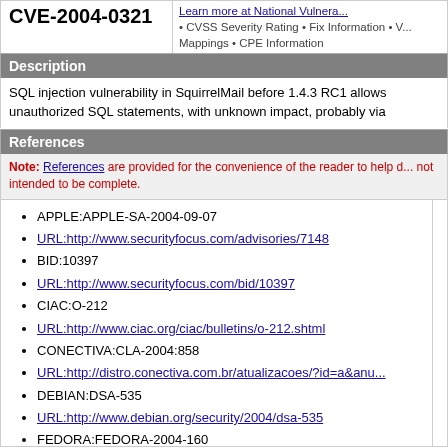CVE-2004-0321
Learn more at National Vulnera... • CVSS Severity Rating • Fix Information • V... Mappings • CPE Information
Description
SQL injection vulnerability in SquirrelMail before 1.4.3 RC1 allows unauthorized SQL statements, with unknown impact, probably via
References
Note: References are provided for the convenience of the reader to help d... not intended to be complete.
APPLE:APPLE-SA-2004-09-07
URL:http://www.securityfocus.com/advisories/7148
BID:10397
URL:http://www.securityfocus.com/bid/10397
CIAC:O-212
URL:http://www.ciac.org/ciac/bulletins/o-212.shtml
CONECTIVA:CLA-2004:858
URL:http://distro.conectiva.com.br/atualizacoes/?id=a&anu...
DEBIAN:DSA-535
URL:http://www.debian.org/security/2004/dsa-535
FEDORA:FEDORA-2004-160
URL:http://www.securityfocus.com/advisories/6827